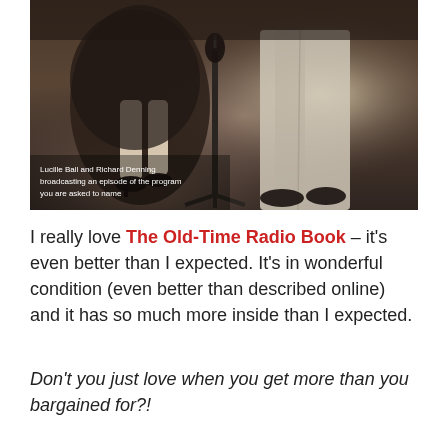[Figure (photo): Black and white photograph showing the legs and lower bodies of two people standing at a microphone stand. The image appears to be from a vintage radio broadcasting session. A caption overlay reads: 'Lucille Ball and Richard Denning broadcasting an episode of the program you are asked to name'.]
Lucille Ball and Richard Denning broadcasting an episode of the program you are asked to name
I really love The Old-Time Radio Book – it's even better than I expected. It's in wonderful condition (even better than described online) and it has so much more inside than I expected.
Don't you just love when you get more than you bargained for?!